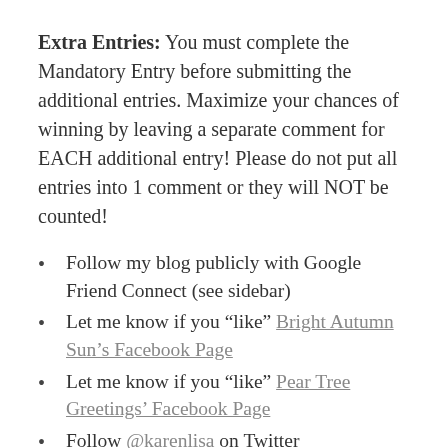Extra Entries: You must complete the Mandatory Entry before submitting the additional entries. Maximize your chances of winning by leaving a separate comment for EACH additional entry! Please do not put all entries into 1 comment or they will NOT be counted!
Follow my blog publicly with Google Friend Connect (see sidebar)
Let me know if you “like” Bright Autumn Sun’s Facebook Page
Let me know if you “like” Pear Tree Greetings’ Facebook Page
Follow @karenlisa on Twitter
Follow @peartreegrtngs on Twitter
Add Bright Autumn S...